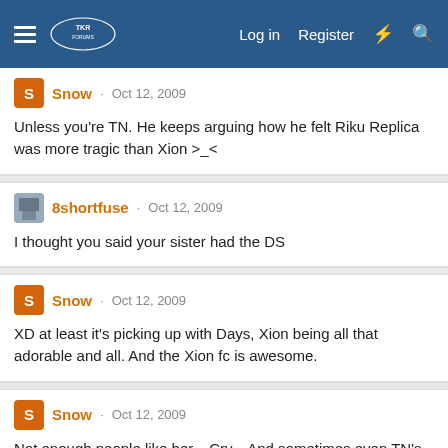TKR forum navigation bar with Log in, Register, and search icons
Snow · Oct 12, 2009
Unless you're TN. He keeps arguing how he felt Riku Replica was more tragic than Xion >_<
8shortfuse · Oct 12, 2009
I thought you said your sister had the DS
Snow · Oct 12, 2009
XD at least it's picking up with Days, Xion being all that adorable and all. And the Xion fc is awesome.
Snow · Oct 12, 2009
Not enough people like her... Cry... And sometimes even TN's hate essays sway my judgement (until I get a good sleep and find a way in my mind to counter them).